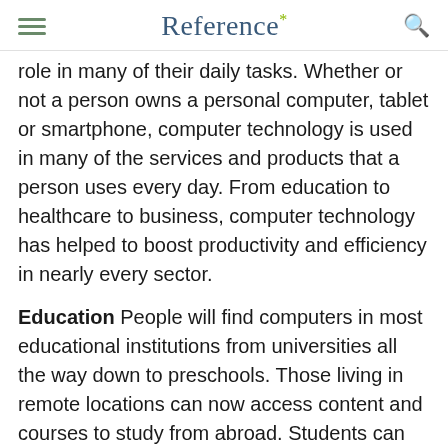Reference*
role in many of their daily tasks. Whether or not a person owns a personal computer, tablet or smartphone, computer technology is used in many of the services and products that a person uses every day. From education to healthcare to business, computer technology has helped to boost productivity and efficiency in nearly every sector.
Education People will find computers in most educational institutions from universities all the way down to preschools. Those living in remote locations can now access content and courses to study from abroad. Students can use computers to research and